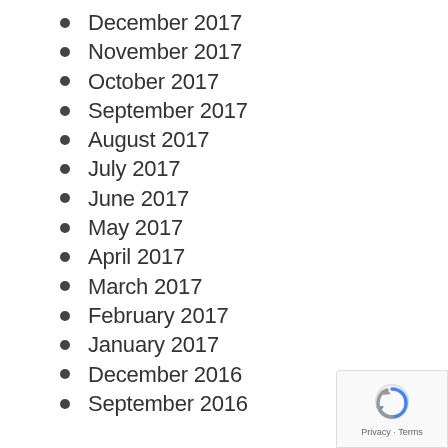December 2017
November 2017
October 2017
September 2017
August 2017
July 2017
June 2017
May 2017
April 2017
March 2017
February 2017
January 2017
December 2016
September 2016
[Figure (logo): reCAPTCHA badge with Privacy and Terms links]